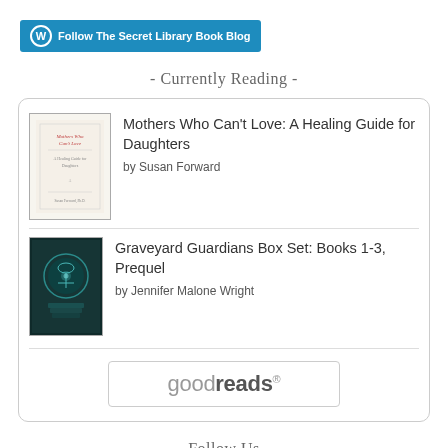[Figure (logo): WordPress Follow button: blue rounded rectangle with WordPress W icon and text 'Follow The Secret Library Book Blog']
- Currently Reading -
[Figure (other): Goodreads currently-reading widget showing two books in a rounded-border box: 1) 'Mothers Who Can't Love: A Healing Guide for Daughters' by Susan Forward, 2) 'Graveyard Guardians Box Set: Books 1-3, Prequel' by Jennifer Malone Wright, with a Goodreads button at the bottom]
- Follow Us -